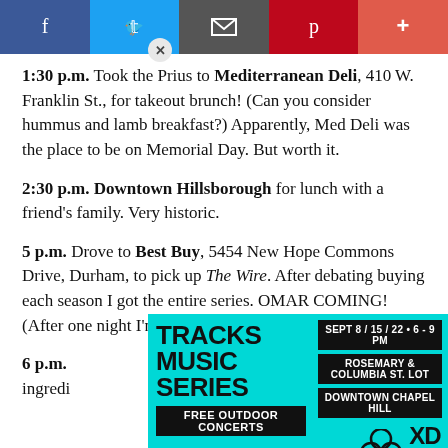[Figure (other): Social sharing bar with Facebook (blue), Twitter (light blue), Email (gray), Pinterest (dark red), and Plus (salmon-red) buttons]
1:30 p.m. Took the Prius to Mediterranean Deli, 410 W. Franklin St., for takeout brunch! (Can you consider hummus and lamb breakfast?) Apparently, Med Deli was the place to be on Memorial Day. But worth it.
2:30 p.m. Downtown Hillsborough for lunch with a friend's family. Very historic.
5 p.m. Drove to Best Buy, 5454 New Hope Commons Drive, Durham, to pick up The Wire. After debating buying each season I got the entire series. OMAR COMING! (After one night I'm on Episode 4.)
6 p.m. [partially obscured by ad] to get ingredi[ents] … couple … nd
[Figure (infographic): Tracks Music Series advertisement on cyan/turquoise background. Left side: bold text 'TRACKS MUSIC SERIES' with 'FREE OUTDOOR CONCERTS' bar. Right side: black boxes with 'SEPT 8 / 15 / 22 • 6 - 9 PM', 'ROSEMARY & COLUMBIA ST. LOT', 'DOWNTOWN CHAPEL HILL', and logos for Community Arts & Culture (XDCH).]